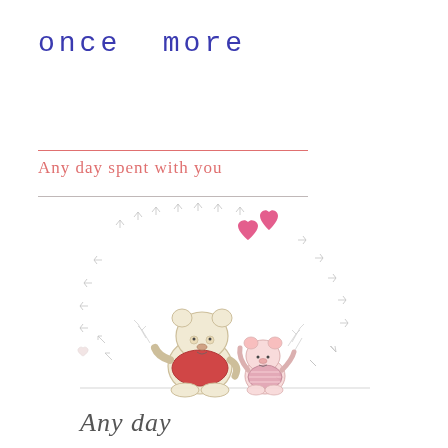once more
Any day spent with you
[Figure (illustration): Winnie the Pooh and Piglet sitting together inside a heart shape made of small floral/dandelion sketches, with two pink hearts floating above. The characters are drawn in a classic soft sketch style, Pooh wearing his red shirt and Piglet in pink stripes.]
Any day